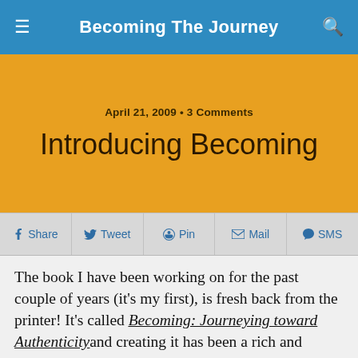Becoming The Journey
Introducing Becoming
April 21, 2009 • 3 Comments
Share   Tweet   Pin   Mail   SMS
The book I have been working on for the past couple of years (it's my first), is fresh back from the printer! It's called Becoming: Journeying toward Authenticityand creating it has been a rich and rewarding project. It is published by a new, independent, Vancouver publisher: The Write Room Press.I invite you to have a look at the book and read some reviews by going to